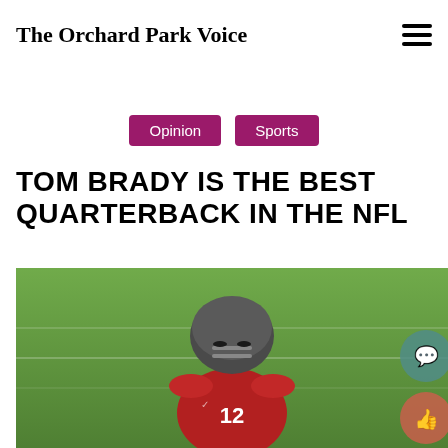The Orchard Park Voice
Opinion  Sports
TOM BRADY IS THE BEST QUARTERBACK IN THE NFL
[Figure (photo): Tom Brady in Tampa Bay Buccaneers red jersey and helmet, number 12, on green football field background, with social media chat and like buttons overlaid on the right side]